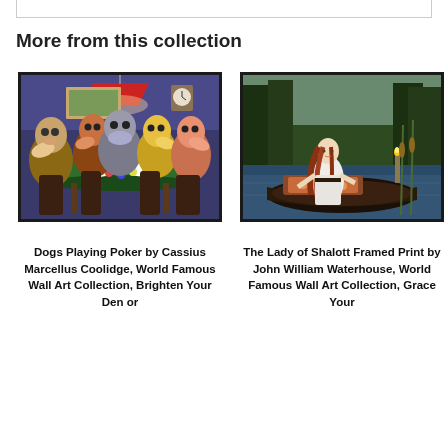More from this collection
[Figure (photo): Framed painting of dogs playing poker by Cassius Marcellus Coolidge, showing dogs seated around a card table with a red lamp overhead]
Dogs Playing Poker by Cassius Marcellus Coolidge, World Famous Wall Art Collection, Brighten Your Den or
[Figure (photo): Framed painting of The Lady of Shalott by John William Waterhouse, showing a woman in white sitting in a boat on a river]
The Lady of Shalott Framed Print by John William Waterhouse, World Famous Wall Art Collection, Grace Your